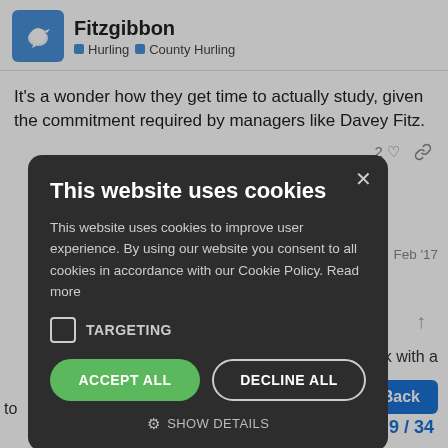Fitzgibbon — Hurling | County Hurling
It's a wonder how they get time to actually study, given the commitment required by managers like Davey Fitz.
[Figure (screenshot): Cookie consent modal overlay with dark background showing: title 'This website uses cookies', body text about cookie policy, TARGETING checkbox, ACCEPT ALL and DECLINE ALL buttons, and SHOW DETAILS option with gear icon.]